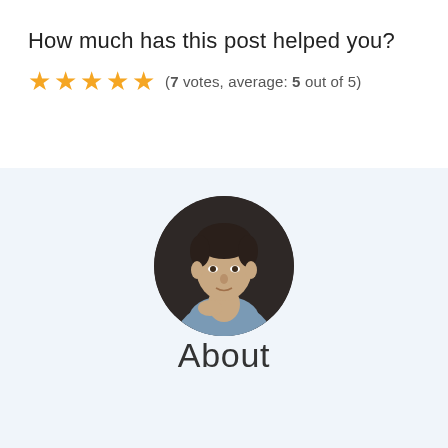How much has this post helped you?
(7 votes, average: 5 out of 5)
[Figure (photo): Circular portrait photo of a man in a light blue shirt against a dark background, looking at the camera with one hand raised to his chin.]
About